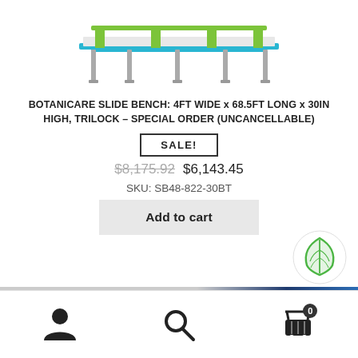[Figure (photo): Product image of Botanicare Slide Bench — a rectangular frame with green and teal components, metal legs, partially visible at top]
BOTANICARE SLIDE BENCH: 4FT WIDE x 68.5FT LONG x 30IN HIGH, TRILOCK – SPECIAL ORDER (UNCANCELLABLE)
SALE!
$8,175.92  $6,143.45
SKU: SB48-822-30BT
Add to cart
[Figure (logo): Circular logo with white background, green leaf icon]
Navigation bar with user icon, search icon, and cart icon with badge showing 0